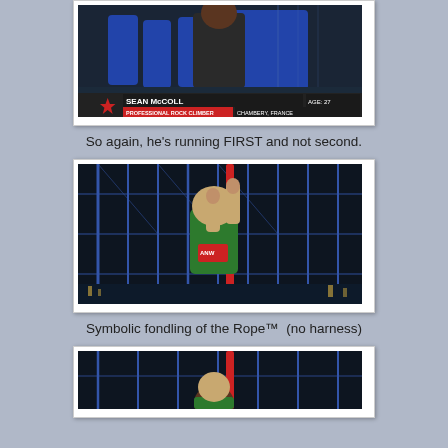[Figure (screenshot): TV screenshot showing Sean McColl, labeled 'PROFESSIONAL ROCK CLIMBER' and 'CHAMBERY, FRANCE', AGE: 27, with a red star graphic on American Ninja Warrior set]
So again, he's running FIRST and not second.
[Figure (screenshot): Screenshot of a competitor in green shirt grabbing a red rope on the American Ninja Warrior obstacle course at night]
Symbolic fondling of the Rope™  (no harness)
[Figure (screenshot): Partial screenshot showing a competitor at the bottom of the frame on the American Ninja Warrior course]